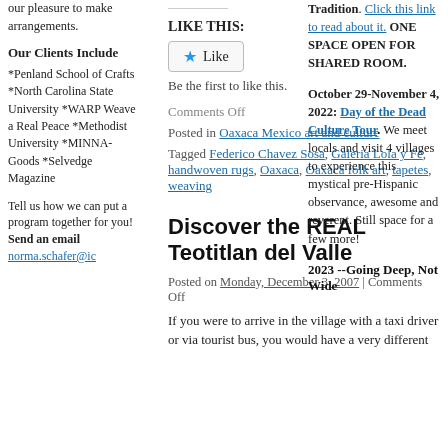our pleasure to make arrangements.
Our Clients Include
*Penland School of Crafts *North Carolina State University *WARP Weave a Real Peace *Methodist University *MINNA-Goods *Selvedge Magazine
Tell us how we can put a program together for you! Send an email norma.schafer@ic
LIKE THIS:
Like
Be the first to like this.
Comments Off
Posted in Oaxaca Mexico art and culture
Tagged Federico Chavez Sosa, Galeria Lola y Fe, handwoven rugs, Oaxaca, Oaxaca folk art, tapetes, weaving
Discover the REAL Teotitlan del Valle
Posted on Monday, December 3, 2007 | Comments Off
If you were to arrive in the village with a taxi driver or via tourist bus, you would have a very different
Tradition. Click this link to read about it. ONE SPACE OPEN FOR SHARED ROOM.
October 29-November 4, 2022: Day of the Dead Culture Tour. We meet locals and visit 4 villages to experience this mystical pre-Hispanic observance, awesome and reverent. Still space for a few more!
2023 --Going Deep, Not Wide